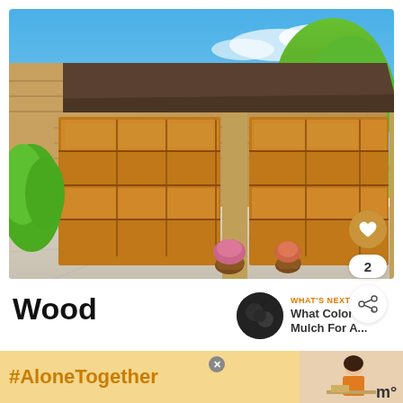[Figure (photo): Exterior photo of a house with three wooden garage doors, brick facade, concrete driveway, green shrubs on the left, trees in the background, blue sky]
Wood
[Figure (photo): WHAT'S NEXT arrow thumbnail - small circular image of dark mulch with text: WHAT'S NEXT → What Color Mulch For A...]
A traditional and timeless look, wood is a solid and
[Figure (infographic): Advertisement banner: #AloneTogether in orange on yellow background, with a photo of a woman, and a music app logo]